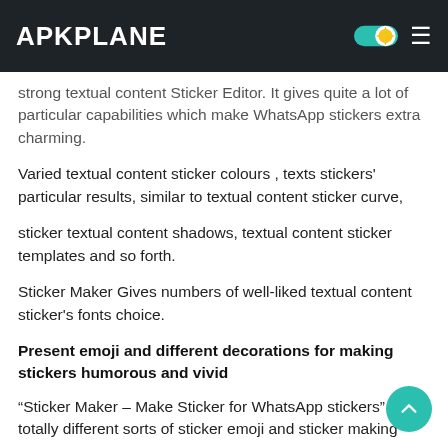APKPLANE
strong textual content Sticker Editor. It gives quite a lot of particular capabilities which make WhatsApp stickers extra charming.
Varied textual content sticker colours , texts stickers' particular results, similar to textual content sticker curve,
sticker textual content shadows, textual content sticker templates and so forth.
Sticker Maker Gives numbers of well-liked textual content sticker's fonts choice.
Present emoji and different decorations for making stickers humorous and vivid
“Sticker Maker – Make Sticker for WhatsApp stickers” gives totally different sorts of sticker emoji and sticker making